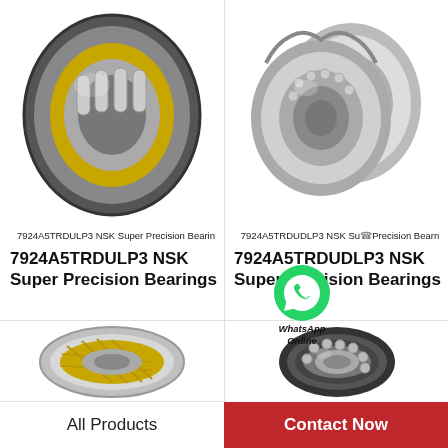[Figure (photo): Cylindrical roller bearing cross-section cutaway view with gold cage, top-left product]
7924A5TRDULP3 NSK Super Precision Bearin
7924A5TRDULP3 NSK Super Precision Bearings
[Figure (photo): Double-row angular contact ball bearing, top-right product]
7924A5TRDUDLP3 NSK Super Precision Bearn
7924A5TRDUDLP3 NSK Super Precision Bearings
[Figure (photo): Spherical roller bearing with gold cage, bottom-left product]
[Figure (photo): Deep groove ball bearing, bottom-right product]
All Products
Contact Now